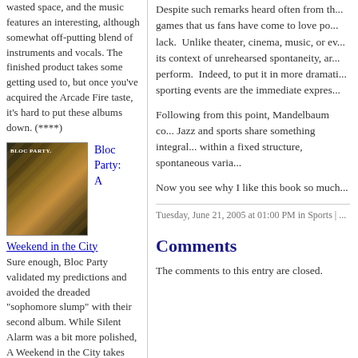wasted space, and the music features an interesting, although somewhat off-putting blend of instruments and vocals. The finished product takes some getting used to, but once you've acquired the Arcade Fire taste, it's hard to put these albums down. (****)
[Figure (photo): Album cover for Bloc Party: A Weekend in the City - dark cityscape aerial view with orange/yellow tones]
Bloc Party: A
Weekend in the City
Sure enough, Bloc Party validated my predictions and avoided the dreaded "sophomore slump" with their second album. While Silent Alarm was a bit more polished, A Weekend in the City takes more chances, and offers a more diverse and creative set of songs than the band's first album. There are clear allusions to Radiohead's Kid A throughout this album, but Bloc Party does a good job of continuing to hone their own unique sound. "I Still Remember" is the sort of anthmic single that could
Despite such remarks heard often from th... games that us fans have come to love po... lack. Unlike theater, cinema, music, or ev... its context of unrehearsed spontaneity, ar... perform. Indeed, to put it in more dramati... sporting events are the immediate expres...
Following from this point, Mandelbaum co... Jazz and sports share something integral... within a fixed structure, spontaneous varia...
Now you see why I like this book so much...
Tuesday, June 21, 2005 at 01:00 PM in Sports |
Comments
The comments to this entry are closed.